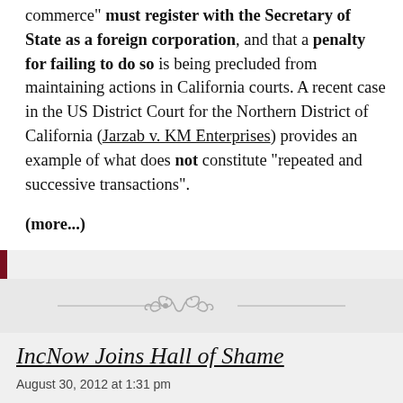commerce" must register with the Secretary of State as a foreign corporation, and that a penalty for failing to do so is being precluded from maintaining actions in California courts. A recent case in the US District Court for the Northern District of California (Jarzab v. KM Enterprises) provides an example of what does not constitute "repeated and successive transactions".
(more...)
[Figure (illustration): Decorative ornamental divider with scrollwork and flourishes]
IncNow Joins Hall of Shame
August 30, 2012 at 1:31 pm
Almost two years ago, I wrote about how Delaware corporations with no-par-value stock can find themselves